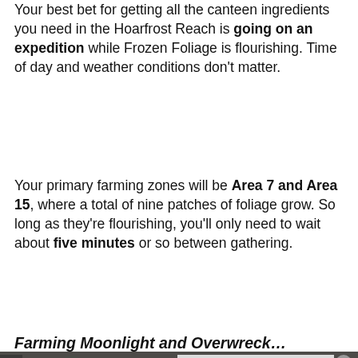Your best bet for getting all the canteen ingredients you need in the Hoarfrost Reach is going on an expedition while Frozen Foliage is flourishing. Time of day and weather conditions don't matter.
Your primary farming zones will be Area 7 and Area 15, where a total of nine patches of foliage grow. So long as they're flourishing, you'll only need to wait about five minutes or so between gathering.
Farming Moonlight and Overwreck…
[Figure (screenshot): Video player showing a game map with a media error overlay: 'The media could not be loaded, either because the server or network failed or because the format is not supported.' An advertisement overlay in top right reads 'IQ TEST: FIND THE Fails & Epic Wins! #1477'. A large X close button is visible.]
any Frozen Foliage you come across.
Moonlight Icebloom is relatively common, and you're liable to get your hands on it within your first